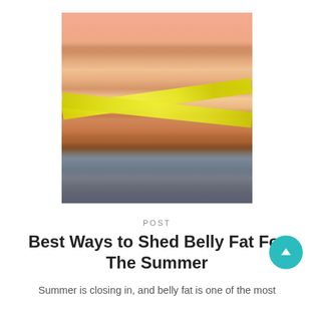[Figure (photo): Woman in pink top and jeans measuring her waist with a yellow tape measure crossed around her midsection]
POST
Best Ways to Shed Belly Fat For The Summer
Summer is closing in, and belly fat is one of the most